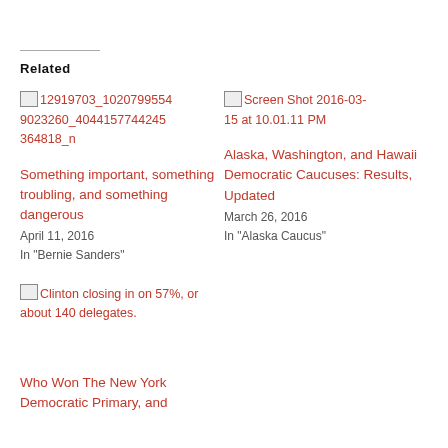Related
[Figure (screenshot): Broken image thumbnail for article about 12919703_10207995549023260_4044157744245364818_n]
12919703_10207995549023260_4044157744245364818_n
[Figure (screenshot): Broken image thumbnail for Screen Shot 2016-03-15 at 10.01.11 PM]
Screen Shot 2016-03-15 at 10.01.11 PM
Something important, something troubling, and something dangerous
April 11, 2016
In "Bernie Sanders"
Alaska, Washington, and Hawaii Democratic Caucuses: Results, Updated
March 26, 2016
In "Alaska Caucus"
[Figure (screenshot): Broken image thumbnail for Clinton closing in on 57%, or about 140 delegates.]
Clinton closing in on 57%, or about 140 delegates.
Who Won The New York Democratic Primary, and